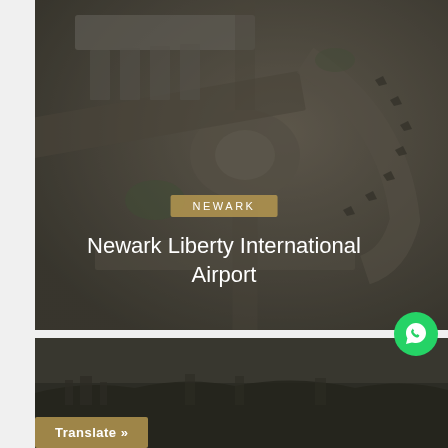[Figure (photo): Aerial view of Newark Liberty International Airport with runways and terminal buildings visible from above, partially darkened overlay]
NEWARK
Newark Liberty International Airport
[Figure (photo): Aerial or elevated view of a cityscape with trees and urban development, dark-toned photo]
Translate »